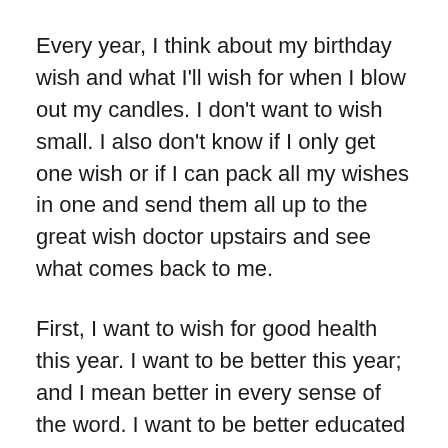Every year, I think about my birthday wish and what I'll wish for when I blow out my candles. I don't want to wish small. I also don't know if I only get one wish or if I can pack all my wishes in one and send them all up to the great wish doctor upstairs and see what comes back to me.
First, I want to wish for good health this year. I want to be better this year; and I mean better in every sense of the word. I want to be better educated and better informed. I want to be better about my boundaries and better about my word and my loyalty. I want to be better to myself and to others around me. I want to be better about my mistakes and my past and better about forgiving myself and others as well.
I want to be ready when I blow out the candles. I want to